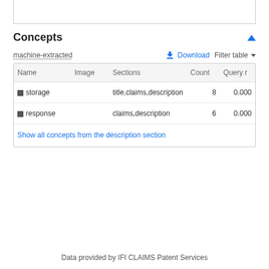Concepts
machine-extracted
| Name | Image | Sections | Count | Query r |
| --- | --- | --- | --- | --- |
| storage |  | title,claims,description | 8 | 0.000 |
| response |  | claims,description | 6 | 0.000 |
| Show all concepts from the description section |  |  |  |  |
Data provided by IFI CLAIMS Patent Services